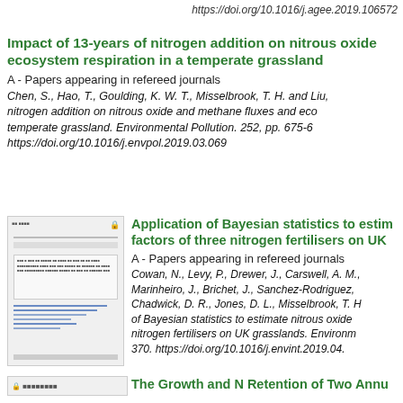https://doi.org/10.1016/j.agee.2019.106572
Impact of 13-years of nitrogen addition on nitrous oxide ecosystem respiration in a temperate grassland
A - Papers appearing in refereed journals
Chen, S., Hao, T., Goulding, K. W. T., Misselbrook, T. H. and Liu, nitrogen addition on nitrous oxide and methane fluxes and eco temperate grassland. Environmental Pollution. 252, pp. 675-6 https://doi.org/10.1016/j.envpol.2019.03.069
[Figure (screenshot): Thumbnail of a journal article page showing text, a box, horizontal blue lines, and a footer bar.]
Application of Bayesian statistics to estimate factors of three nitrogen fertilisers on UK
A - Papers appearing in refereed journals
Cowan, N., Levy, P., Drewer, J., Carswell, A. M., Marinheiro, J., Brichet, J., Sanchez-Rodriguez, Chadwick, D. R., Jones, D. L., Misselbrook, T. H. of Bayesian statistics to estimate nitrous oxide nitrogen fertilisers on UK grasslands. Environm 370. https://doi.org/10.1016/j.envint.2019.04.
The Growth and N Retention of Two Annu